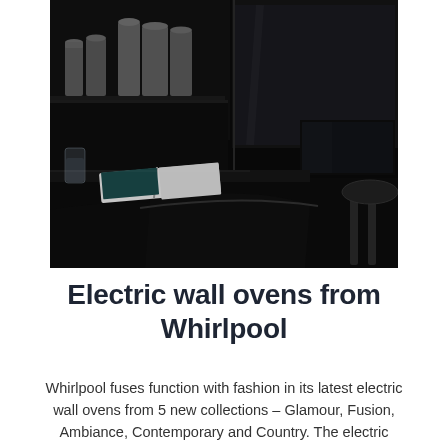[Figure (photo): Dark, moody kitchen interior with matte black cabinetry, stainless steel canisters and cookware on open shelving, an open magazine or book on a curved black counter surface, a glass of water, and a partial view of a chair in the lower right corner. The Whirlpool appliance is embedded in the dark wall cabinet with a glass door.]
Electric wall ovens from Whirlpool
Whirlpool fuses function with fashion in its latest electric wall ovens from 5 new collections – Glamour, Fusion, Ambiance, Contemporary and Country. The electric